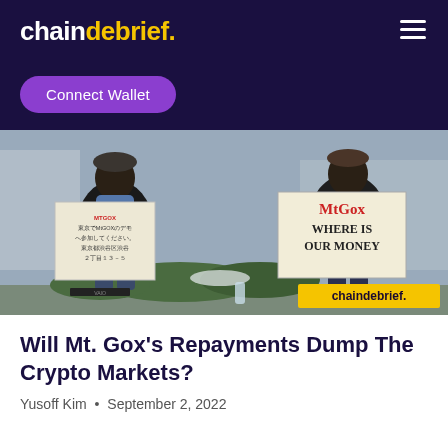chaindebrief.
Connect Wallet
[Figure (photo): Two protesters sitting outdoors holding signs. Left sign has Japanese text about an MTGOX demo in Tokyo's Shibuya district. Right sign reads 'MtGox WHERE IS OUR MONEY' in red and black letters. A 'chaindebrief.' watermark badge appears in the bottom right of the image.]
Will Mt. Gox's Repayments Dump The Crypto Markets?
Yusoff Kim • September 2, 2022